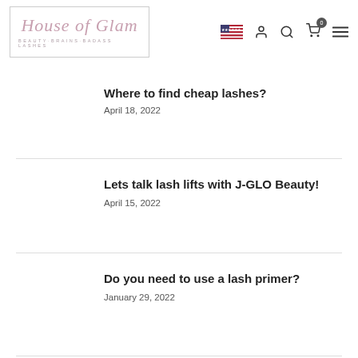House of Glam — BEAUTY·BRAINS·BADASS LASHES
Where to find cheap lashes?
April 18, 2022
Lets talk lash lifts with J-GLO Beauty!
April 15, 2022
Do you need to use a lash primer?
January 29, 2022